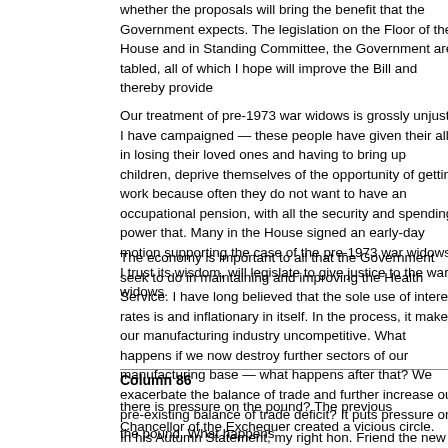whether the proposals will bring the benefit that the Government expects. The legislation on the Floor of the House and in Standing Committee, the Government are tabled, all of which I hope will improve the Bill and thereby provide
Our treatment of pre-1973 war widows is grossly unjust. I have campaigned — these people have given their all in losing their loved ones and having to bring up children, deprive themselves of the opportunity of getting work because often they do not want to have an occupational pension, with all the security and spending power that. Many in the House signed an early-day motion supporting the case of the pre-1973 war widows. I trust its wisdom, will legislate to give justice to the war widows.
The economy is important to all that the Government seek to do in maintaining and improving the Health Service. I have long believed that the sole use of interest rates is and inflationary in itself. In the process, it makes our manufacturing industry uncompetitive. What happens if we now destroy further sectors of our manufacturing base — what happens after that? We exacerbate the balance of trade and further increase our pre-existing balance of trade deficit? It puts pressure on the pound. What happens
Column 86
there is pressure on the pound? The previous Chancellor of the Exchequer created a vicious circle.
In his Autumn Statement, my right hon. Friend the new Chancellor of the Exchequer other ways of dealing with our problems and to use not only monetary
Mr. Skinner : Use taxation.
Mr. Winterton : I refer to indirect taxes. I should not encourage my right hon. Friend him not to reduce direct taxation any further.